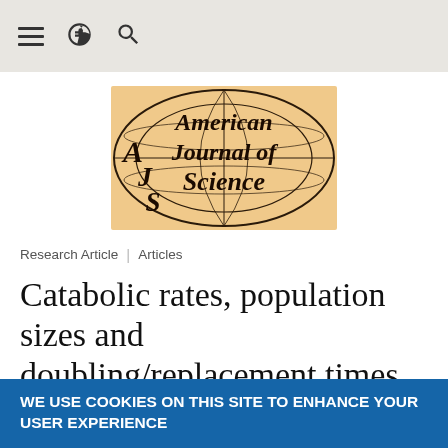☰ ⚙ 🔍
[Figure (logo): American Journal of Science logo — oval globe graphic with serif italic text 'American Journal of Science' on tan/peach background]
Research Article | Articles
Catabolic rates, population sizes and doubling/replacement times of microorganisms in natural settings
WE USE COOKIES ON THIS SITE TO ENHANCE YOUR USER EXPERIENCE